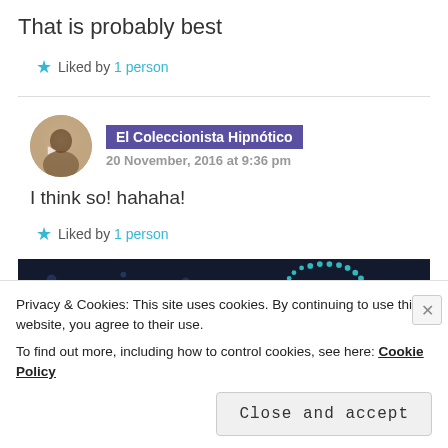That is probably best
★ Liked by 1 person
El Coleccionista Hipnótico
20 November, 2016 at 9:36 pm
I think so! hahaha!
★ Liked by 1 person
[Figure (screenshot): Advertisement banner with dark background and dots pattern, showing CROWD logo text]
Privacy & Cookies: This site uses cookies. By continuing to use this website, you agree to their use.
To find out more, including how to control cookies, see here: Cookie Policy